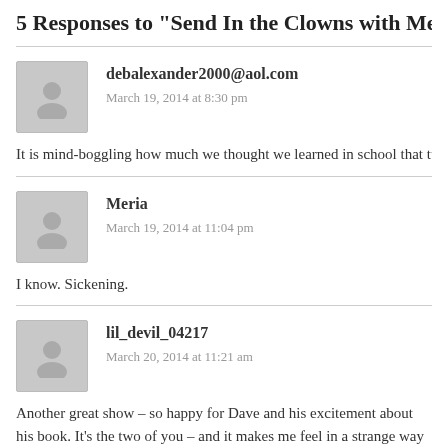5 Responses to "Send In the Clowns with Meria and Dave Mc
debalexander2000@aol.com
March 19, 2014 at 8:30 pm
It is mind-boggling how much we thought we learned in school that turns out to
Meria
March 19, 2014 at 11:04 pm
I know. Sickening.
lil_devil_04217
March 20, 2014 at 11:21 am
Another great show – so happy for Dave and his excitement about his book. It's the two of you – and it makes me feel in a strange way like I was part of the pr As crazy as it is, I feel like I know your guests and co-hosts in such an intimate other talk radio formats. I feel like I'm at the back table of a restaurant drinkin